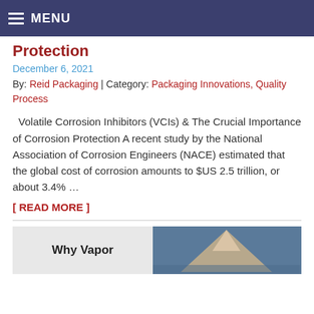MENU
Protection
December 6, 2021
By: Reid Packaging | Category: Packaging Innovations, Quality Process
Volatile Corrosion Inhibitors (VCIs) & The Crucial Importance of Corrosion Protection A recent study by the National Association of Corrosion Engineers (NACE) estimated that the global cost of corrosion amounts to $US 2.5 trillion, or about 3.4% …
[ READ MORE ]
Why Vapor